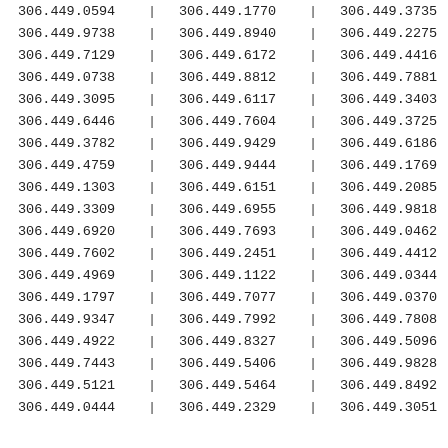| Col1 | Col2 | Col3 |
| --- | --- | --- |
| 306.449.0594 | 306.449.1770 | 306.449.3735 |
| 306.449.9738 | 306.449.8940 | 306.449.2275 |
| 306.449.7129 | 306.449.6172 | 306.449.4416 |
| 306.449.0738 | 306.449.8812 | 306.449.7881 |
| 306.449.3095 | 306.449.6117 | 306.449.3403 |
| 306.449.6446 | 306.449.7604 | 306.449.3725 |
| 306.449.3782 | 306.449.9429 | 306.449.6186 |
| 306.449.4759 | 306.449.9444 | 306.449.1769 |
| 306.449.1303 | 306.449.6151 | 306.449.2085 |
| 306.449.3309 | 306.449.6955 | 306.449.9818 |
| 306.449.6920 | 306.449.7693 | 306.449.0462 |
| 306.449.7602 | 306.449.2451 | 306.449.4412 |
| 306.449.4969 | 306.449.1122 | 306.449.0344 |
| 306.449.1797 | 306.449.7077 | 306.449.0370 |
| 306.449.9347 | 306.449.7992 | 306.449.7808 |
| 306.449.4922 | 306.449.8327 | 306.449.5096 |
| 306.449.7443 | 306.449.5406 | 306.449.9828 |
| 306.449.5121 | 306.449.5464 | 306.449.8492 |
| 306.449.0444 | 306.449.2329 | 306.449.3051 |